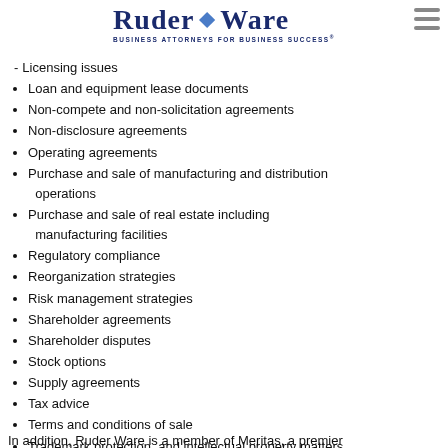Ruder Ware — BUSINESS ATTORNEYS FOR BUSINESS SUCCESS
Licensing issues
Loan and equipment lease documents
Non-compete and non-solicitation agreements
Non-disclosure agreements
Operating agreements
Purchase and sale of manufacturing and distribution operations
Purchase and sale of real estate including manufacturing facilities
Regulatory compliance
Reorganization strategies
Risk management strategies
Shareholder agreements
Shareholder disputes
Stock options
Supply agreements
Tax advice
Terms and conditions of sale
Trademark protection  and intellectual property matters
Warranty and product liability issues
Work force issues
In addition, Ruder Ware is a member of Meritas, a premier